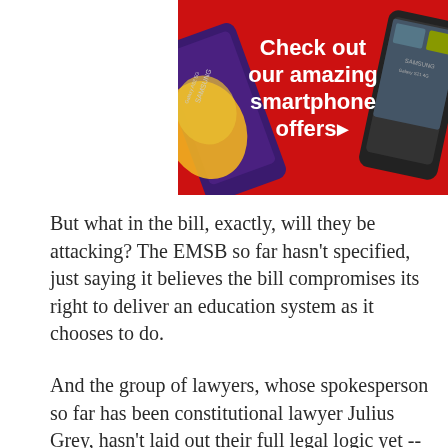[Figure (illustration): Advertisement banner with red diamond-shape background showing smartphones (Samsung Galaxy A52 5G and Samsung Galaxy S21 4G) and white text reading 'Check out our amazing smartphone offers' with a right-pointing arrow]
But what in the bill, exactly, will they be attacking? The EMSB so far hasn't specified, just saying it believes the bill compromises its right to deliver an education system as it chooses to do.
And the group of lawyers, whose spokesperson so far has been constitutional lawyer Julius Grey, hasn't laid out their full legal logic yet -- they're still working on it and aren't going to